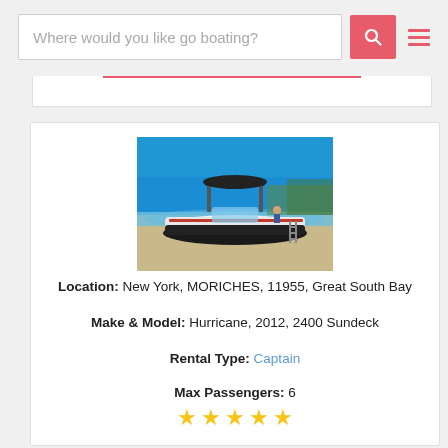Where would you like go boating?
[Figure (photo): A white speedboat with a black bimini top resting on a sandy shoreline with clear blue sky and water in the background]
Location: New York, MORICHES, 11955, Great South Bay
Make & Model: Hurricane, 2012, 2400 Sundeck
Rental Type: Captain
Max Passengers: 6
[Figure (illustration): Five gold star rating icons]